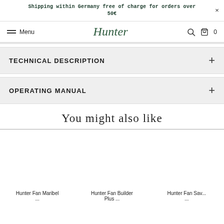Shipping within Germany free of charge for orders over 50€
Menu  Hunter  🔍  🛍 0
TECHNICAL DESCRIPTION
OPERATING MANUAL
You might also like
Hunter Fan Maribel ...
Hunter Fan Builder Plus ...
Hunter Fan Sav...